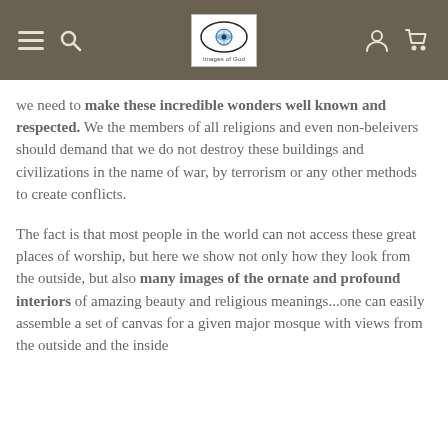Navigation bar with hamburger menu, search icon, Images of God logo, user icon, and cart icon
we need to make these incredible wonders well known and respected. We the members of all religions and even non-beleivers should demand that we do not destroy these buildings and civilizations in the name of war, by terrorism or any other methods to create conflicts.
The fact is that most people in the world can not access these great places of worship, but here we show not only how they look from the outside, but also many images of the ornate and profound interiors of amazing beauty and religious meanings...one can easily assemble a set of canvas for a given major mosque with views from the outside and the inside